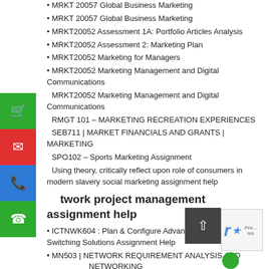MRKT 20057 Global Business Marketing
MRKT 20057 Global Business Marketing
MRKT20052 Assessment 1A: Portfolio Articles Analysis
MRKT20052 Assessment 2: Marketing Plan
MRKT20052 Marketing for Managers
MRKT20052 Marketing Management and Digital Communications
MRKT20052 Marketing Management and Digital Communications
RMGT 101 – MARKETING RECREATION EXPERIENCES
SEB711 | MARKET FINANCIALS AND GRANTS | MARKETING
SPO102 – Sports Marketing Assignment
Using theory, critically reflect upon role of consumers in modern slavery social marketing assignment help
network project management assignment help
ICTNWK604 : Plan & Configure Advanced Internetwork Switching Solutions Assignment Help
MN503 | NETWORK REQUIREMENT ANALYSIS AND PLANNING NETWORKING